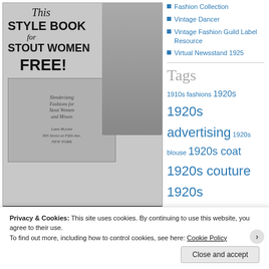[Figure (photo): Vintage 1920s Lane Bryant advertisement for a style book for stout women, showing fashions and text 'New Styles... Smartly Slenderizing']
Fashion Collection
Vintage Dancer
Vintage Fashion Guild Label Resource
Virtual Newsstand 1925
Tags
1910s fashions 1920s 1920s advertising 1920s blouse 1920s coat 1920s couture 1920s
Privacy & Cookies: This site uses cookies. By continuing to use this website, you agree to their use.
To find out more, including how to control cookies, see here: Cookie Policy
Close and accept